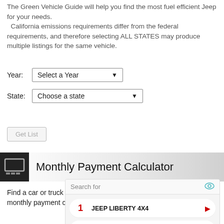The Green Vehicle Guide will help you find the most fuel efficient Jeep for your needs.
  California emissions requirements differ from the federal requirements, and therefore selecting ALL STATES may produce multiple listings for the same vehicle.
Year: Select a Year
State: Choose a state
Get List
Monthly Payment Calculator
Find a car or truck made by Jeep that fits your budget by using our monthly payment calculator.
[Figure (screenshot): Advertisement search widget with 'Search for' label, eye icon, two search result rows: '1 JEEP LIBERTY 4X4' and '2 END OF SEASON OFFERS ON', each with a red arrow, and a footer icon at bottom right.]